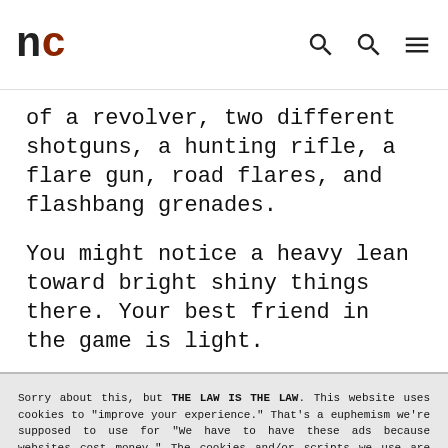nc
of a revolver, two different shotguns, a hunting rifle, a flare gun, road flares, and flashbang grenades.
You might notice a heavy lean toward bright shiny things there. Your best friend in the game is light.
Sorry about this, but THE LAW IS THE LAW. This website uses cookies to "improve your experience." That's a euphemism we're supposed to use for "We have to have these ads because websites cost money." The cookies and/or scripts we use are mostly from Google Analytics, AdSense, and YouTube. However we've instructed Google to anonymize any data that they collect. Just so you know. We'll assume you're ok with this, but you can opt-out if you wish. Just bear in mind, certain embeds and such might not work.<br /> <br /> Also, please be aware that when we link out to products, we may earn a commission for doing so. Because we're certainly not doing it for our health. See our privacy policy & terms of use for more info than you would ever want to know. - Privacy Policy & Terms of Use